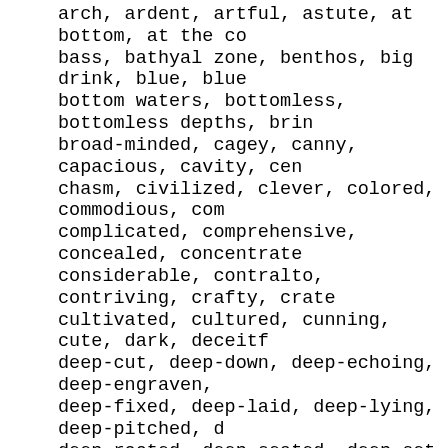arch, ardent, artful, astute, at bottom, at the co bass, bathyal zone, benthos, big drink, blue, blue bottom waters, bottomless, bottomless depths, brin broad-minded, cagey, canny, capacious, cavity, cen chasm, civilized, clever, colored, commodious, com complicated, comprehensive, concealed, concentrate considerable, contralto, contriving, crafty, crate cultivated, cultured, cunning, cute, dark, deceitf deep-cut, deep-down, deep-echoing, deep-engraven, deep-fixed, deep-laid, deep-lying, deep-pitched, d deep-rooted, deep-seated, deep-set, deep-settled, deep-sunk, deep-sunken, deep-toned, deepgoing, dee deepmouthed, deepsome, depth, designing, devious, diplomatic, discerning, drink, dyed, earnest, earn encyclopedic, engaged, engrossed, erudite, esoteri expansive, extended, extending, extensive, far-rea fervent, fixed, foxy, full, full-colored, grand, g ground, guileful, gulf, hard, heartfelt, heavily, hidden, high sea, high seas, hole, hollow, homefel hydrosphere, imbued, immersed, impenetrable, in Te in color, incomprehensible, indelible, indoor, inf in...